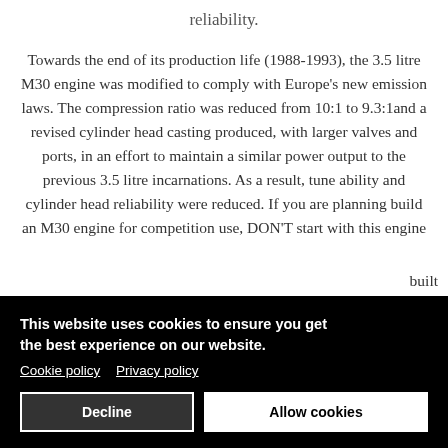reliability.
Towards the end of its production life (1988-1993), the 3.5 litre M30 engine was modified to comply with Europe's new emission laws. The compression ratio was reduced from 10:1 to 9.3:1and a revised cylinder head casting produced, with larger valves and ports, in an effort to maintain a similar power output to the previous 3.5 litre incarnations. As a result, tune ability and cylinder head reliability were reduced. If you are planning build an M30 engine for competition use, DON'T start with this engine
This website uses cookies to ensure you get the best experience on our website. Cookie policy  Privacy policy [Decline] [Allow cookies] ...built ...nd ...used ...g and ...or